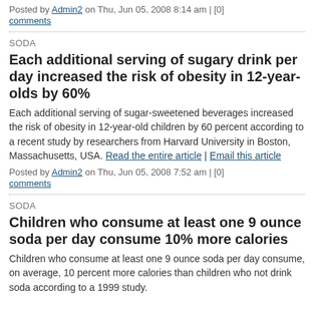Posted by Admin2 on Thu, Jun 05, 2008 8:14 am | [0] comments
SODA
Each additional serving of sugary drink per day increased the risk of obesity in 12-year-olds by 60%
Each additional serving of sugar-sweetened beverages increased the risk of obesity in 12-year-old children by 60 percent according to a recent study by researchers from Harvard University in Boston, Massachusetts, USA. Read the entire article | Email this article
Posted by Admin2 on Thu, Jun 05, 2008 7:52 am | [0] comments
SODA
Children who consume at least one 9 ounce soda per day consume 10% more calories
Children who consume at least one 9 ounce soda per day consume, on average, 10 percent more calories than children who not drink soda according to a 1999 study.